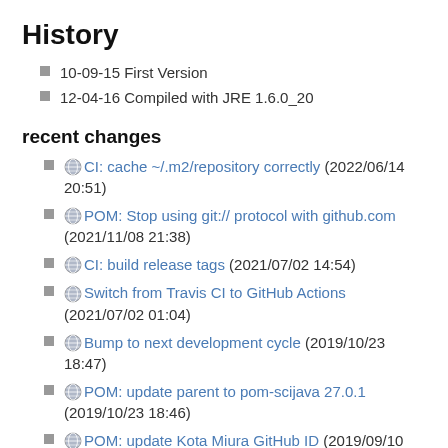History
10-09-15 First Version
12-04-16 Compiled with JRE 1.6.0_20
recent changes
CI: cache ~/.m2/repository correctly (2022/06/14 20:51)
POM: Stop using git:// protocol with github.com (2021/11/08 21:38)
CI: build release tags (2021/07/02 14:54)
Switch from Travis CI to GitHub Actions (2021/07/02 01:04)
Bump to next development cycle (2019/10/23 18:47)
POM: update parent to pom-scijava 27.0.1 (2019/10/23 18:46)
POM: update Kota Miura GitHub ID (2019/09/10 17:11)